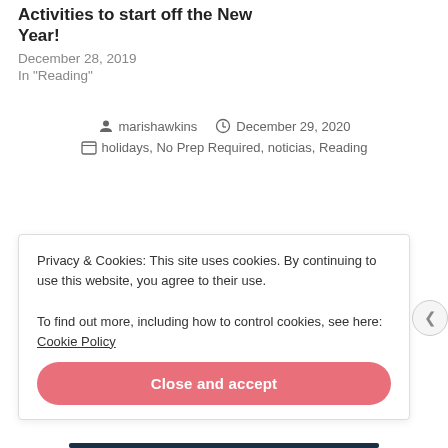Activities to start off the New Year!
December 28, 2019
In "Reading"
marishawkins   December 29, 2020
holidays, No Prep Required, noticias, Reading
Privacy & Cookies: This site uses cookies. By continuing to use this website, you agree to their use.
To find out more, including how to control cookies, see here: Cookie Policy
Close and accept